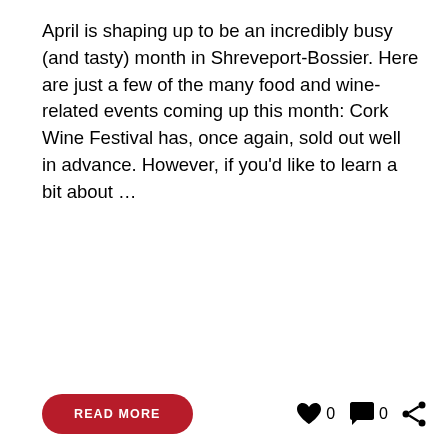April is shaping up to be an incredibly busy (and tasty) month in Shreveport-Bossier. Here are just a few of the many food and wine-related events coming up this month: Cork Wine Festival has, once again, sold out well in advance. However, if you'd like to learn a bit about …
[Figure (other): Red 'READ MORE' button with rounded corners, and social interaction icons (heart with '0', comment bubble with '0', share icon)]